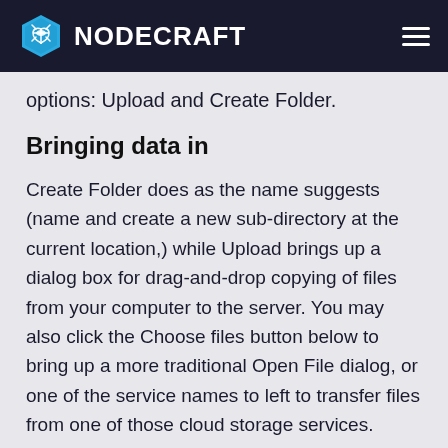NODECRAFT
options: Upload and Create Folder.
Bringing data in
Create Folder does as the name suggests (name and create a new sub-directory at the current location,) while Upload brings up a dialog box for drag-and-drop copying of files from your computer to the server. You may also click the Choose files button below to bring up a more traditional Open File dialog, or one of the service names to left to transfer files from one of those cloud storage services. Unlike in version 1, nothing needs to be zipped for upload, and folders transfer with their layouts intact.